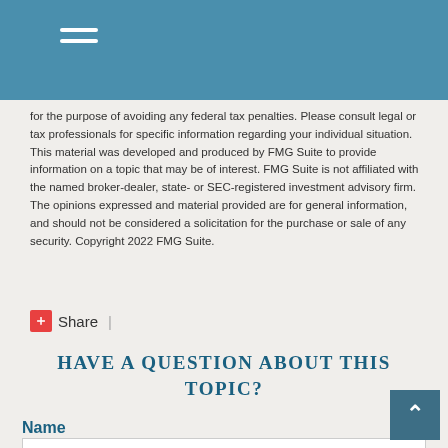Navigation menu header bar
for the purpose of avoiding any federal tax penalties. Please consult legal or tax professionals for specific information regarding your individual situation. This material was developed and produced by FMG Suite to provide information on a topic that may be of interest. FMG Suite is not affiliated with the named broker-dealer, state- or SEC-registered investment advisory firm. The opinions expressed and material provided are for general information, and should not be considered a solicitation for the purchase or sale of any security. Copyright 2022 FMG Suite.
Share |
HAVE A QUESTION ABOUT THIS TOPIC?
Name
Email